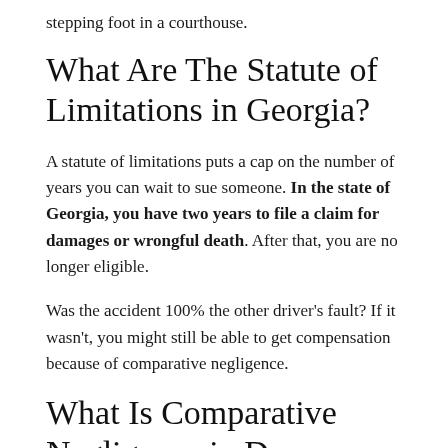stepping foot in a courthouse.
What Are The Statute of Limitations in Georgia?
A statute of limitations puts a cap on the number of years you can wait to sue someone. In the state of Georgia, you have two years to file a claim for damages or wrongful death. After that, you are no longer eligible.
Was the accident 100% the other driver’s fault? If it wasn’t, you might still be able to get compensation because of comparative negligence.
What Is Comparative Negligence in Doerun, GA?
Comparative negligence falls under tort law and comes into play when both parties are at fault. That...